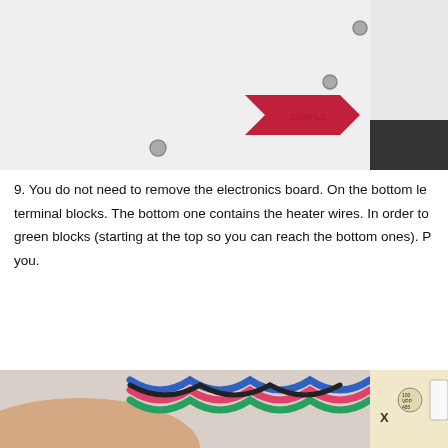[Figure (photo): Close-up photo of a white panel with screws and a red arrow-shaped label/sticker pointing right, with another screw and a dark object visible at the edges.]
9. You do not need to remove the electronics board. On the bottom le terminal blocks. The bottom one contains the heater wires. In order to green blocks (starting at the top so you can reach the bottom ones). P you.
[Figure (photo): Close-up photo of colorful twisted wires (blue, pink, green, black) being held by a finger, next to an electronics circuit board with components including a capacitor marked 100 VPP 485 and an X marking.]